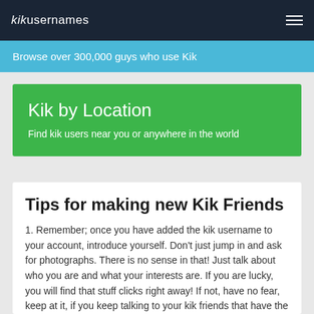kikusernames
Browse over 300,000 guys who use Kik
Kik by Location
Find kik users near you or anywhere in the world
Tips for making new Kik Friends
1. Remember; once you have added the kik username to your account, introduce yourself. Don't just jump in and ask for photographs. There is no sense in that! Just talk about who you are and what your interests are. If you are lucky, you will find that stuff clicks right away! If not, have no fear, keep at it, if you keep talking to your kik friends that have the same interests as you, they are still talking. For not all conversations will be the same.